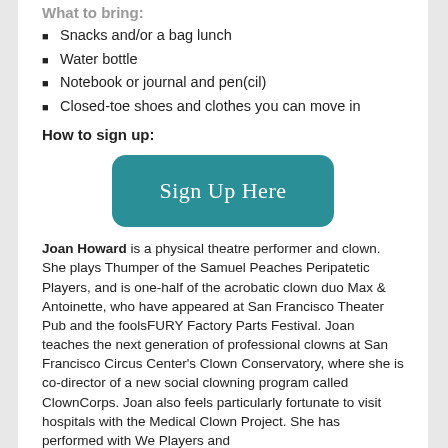What to bring:
Snacks and/or a bag lunch
Water bottle
Notebook or journal and pen(cil)
Closed-toe shoes and clothes you can move in
How to sign up:
[Figure (other): Teal rounded rectangle button with white serif text reading 'Sign Up Here']
Joan Howard is a physical theatre performer and clown. She plays Thumper of the Samuel Peaches Peripatetic Players, and is one-half of the acrobatic clown duo Max & Antoinette, who have appeared at San Francisco Theater Pub and the foolsFURY Factory Parts Festival. Joan teaches the next generation of professional clowns at San Francisco Circus Center's Clown Conservatory, where she is co-director of a new social clowning program called ClownCorps. Joan also feels particularly fortunate to visit hospitals with the Medical Clown Project. She has performed with We Players and